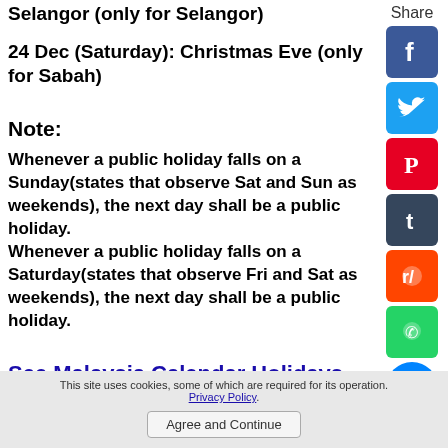Selangor (only for Selangor)
24 Dec (Saturday): Christmas Eve (only for Sabah)
Note:
Whenever a public holiday falls on a Sunday(states that observe Sat and Sun as weekends), the next day shall be a public holiday.
Whenever a public holiday falls on a Saturday(states that observe Fri and Sat as weekends), the next day shall be a public holiday.
See Malaysia Calendar Holidays 2021
This site uses cookies, some of which are required for its operation. Privacy Policy. Agree and Continue